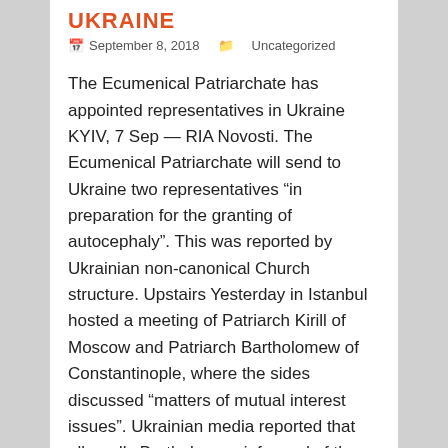UKRAINE
September 8, 2018    Uncategorized
The Ecumenical Patriarchate has appointed representatives in Ukraine KYIV, 7 Sep — RIA Novosti. The Ecumenical Patriarchate will send to Ukraine two representatives “in preparation for the granting of autocephaly”. This was reported by Ukrainian non-canonical Church structure. Upstairs Yesterday in Istanbul hosted a meeting of Patriarch Kirill of Moscow and Patriarch Bartholomew of Constantinople, where the sides discussed “matters of mutual interest issues”. Ukrainian media reported that allegedly Bartholomew informed of the decision of Constantinople to provide the Church in the Ukraine